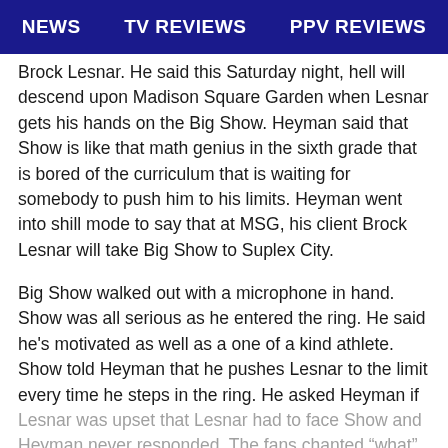NEWS   TV REVIEWS   PPV REVIEWS
Brock Lesnar. He said this Saturday night, hell will descend upon Madison Square Garden when Lesnar gets his hands on the Big Show. Heyman said that Show is like that math genius in the sixth grade that is bored of the curriculum that is waiting for somebody to push him to his limits. Heyman went into shill mode to say that at MSG, his client Brock Lesnar will take Big Show to Suplex City.
Big Show walked out with a microphone in hand. Show was all serious as he entered the ring. He said he's motivated as well as a one of a kind athlete. Show told Heyman that he pushes Lesnar to the limit every time he steps in the ring. He asked Heyman if Lesnar was upset that Lesnar had to face Show and Heyman never responded. The fans chanted "what"